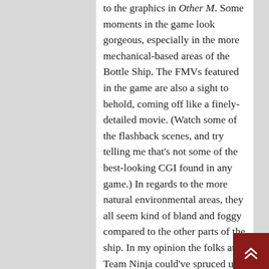to the graphics in Other M. Some moments in the game look gorgeous, especially in the more mechanical-based areas of the Bottle Ship. The FMVs featured in the game are also a sight to behold, coming off like a finely-detailed movie. (Watch some of the flashback scenes, and try telling me that's not some of the best-looking CGI found in any game.) In regards to the more natural environmental areas, they all seem kind of bland and foggy compared to the other parts of the ship. In my opinion the folks at Team Ninja could've spruced up the graphical capabilities in those areas no sweat, even on a system like the Wii.
The voice acting is also a bit hit-and-miss. Hearing Jessica Martin take over...